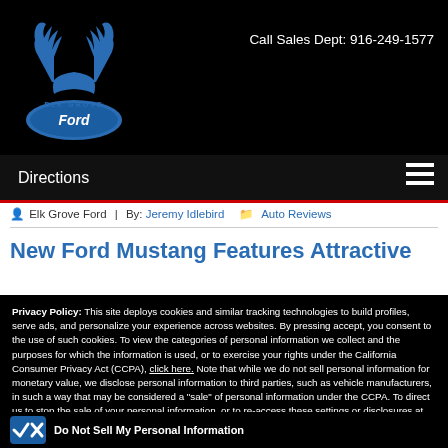[Figure (logo): Elk Grove Ford dealership logo with deer antlers and Ford oval badge in blue]
Call Sales Dept: 916-249-1577
Directions
Elk Grove Ford  |  By: Jeremy Idlebird  Auto Reviews
New Ford Mustang Features Attractive
Privacy Policy: This site deploys cookies and similar tracking technologies to build profiles, serve ads, and personalize your experience across websites. By pressing accept, you consent to the use of such cookies. To view the categories of personal information we collect and the purposes for which the information is used, or to exercise your rights under the California Consumer Privacy Act (CCPA), click here. Note that while we do not sell personal information for monetary value, we disclose personal information to third parties, such as vehicle manufacturers, in such a way that may be considered a "sale" of personal information under the CCPA. To direct us to stop the sale of your personal information, or to re-access these settings or disclosures at anytime, click the following icon or link:
Do Not Sell My Personal Information